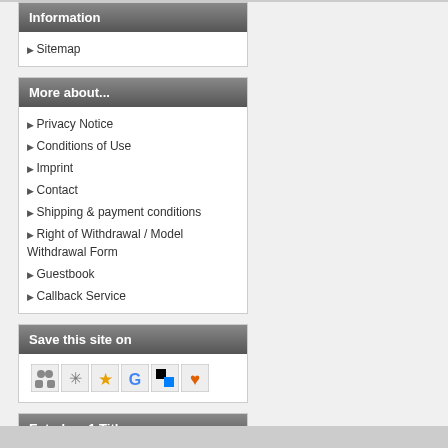Information
Sitemap
More about...
Privacy Notice
Conditions of Use
Imprint
Contact
Shipping & payment conditions
Right of Withdrawal / Model Withdrawal Form
Guestbook
Callback Service
Save this site on
[Figure (other): Social bookmarking icons row]
Extrabox 1 Title
[Figure (logo): W3C XHTML 1.0 validation badge]